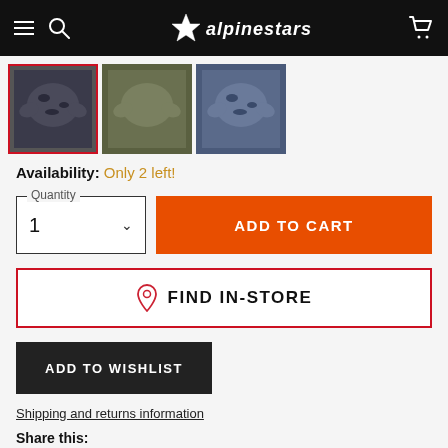Alpinestars
[Figure (photo): Three product thumbnail images of Alpinestars jackets: dark camo (selected with red border), olive green, and blue camo]
Availability: Only 2 left!
Quantity: 1 | ADD TO CART
FIND IN-STORE
ADD TO WISHLIST
Shipping and returns information
Share this: